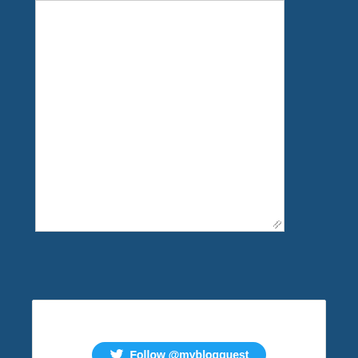[Figure (screenshot): White textarea / comment input box with resize handle in bottom-right corner]
Submit Comment
[Figure (screenshot): Twitter Follow button for @myblogguest and YouTube subscribe button showing count 315]
Pages
About
Faq
MBG Hangouts
MyBlogGuest Badges
Video Tutorials